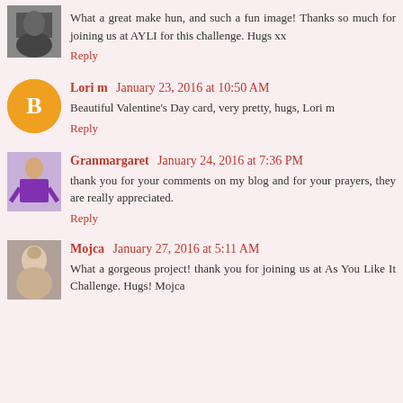[Figure (photo): Small avatar photo of a person in dark tones]
What a great make hun, and such a fun image! Thanks so much for joining us at AYLI for this challenge. Hugs xx
Reply
[Figure (logo): Orange circle with Blogger B icon]
Lori m  January 23, 2016 at 10:50 AM
Beautiful Valentine's Day card, very pretty, hugs, Lori m
Reply
[Figure (photo): Avatar photo of Granmargaret, figure in purple dress]
Granmargaret  January 24, 2016 at 7:36 PM
thank you for your comments on my blog and for your prayers, they are really appreciated.
Reply
[Figure (photo): Avatar photo of Mojca, portrait of a person]
Mojca  January 27, 2016 at 5:11 AM
What a gorgeous project! thank you for joining us at As You Like It Challenge. Hugs! Mojca